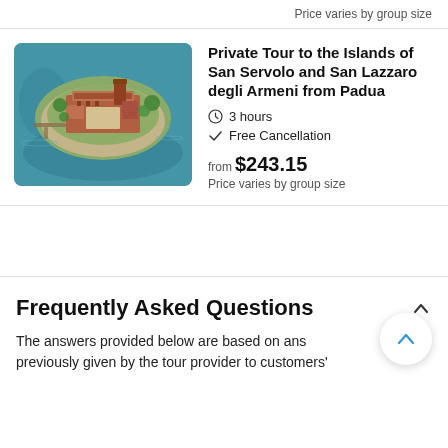Price varies by group size
[Figure (photo): Aerial view of the island of San Servolo surrounded by teal-blue water, showing historic brick buildings and green gardens.]
Private Tour to the Islands of San Servolo and San Lazzaro degli Armeni from Padua
3 hours
Free Cancellation
from $243.15
Price varies by group size
Frequently Asked Questions
The answers provided below are based on answers previously given by the tour provider to customers'